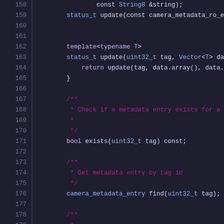[Figure (screenshot): Source code listing in a dark-themed IDE showing C++ code lines 158-178, with syntax highlighting. Keywords in purple, types in blue, comments in dark magenta/red, plain code in light lavender.]